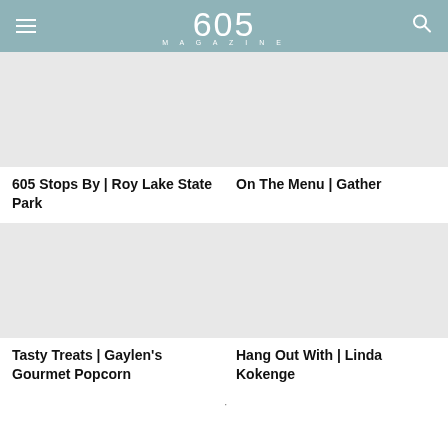605 MAGAZINE
605 Stops By | Roy Lake State Park
On The Menu | Gather
Tasty Treats | Gaylen's Gourmet Popcorn
Hang Out With | Linda Kokenge